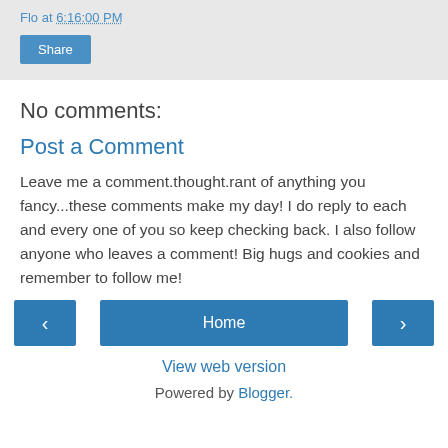Flo at 6:16:00 PM
Share
No comments:
Post a Comment
Leave me a comment.thought.rant of anything you fancy...these comments make my day! I do reply to each and every one of you so keep checking back. I also follow anyone who leaves a comment! Big hugs and cookies and remember to follow me!
‹
Home
›
View web version
Powered by Blogger.